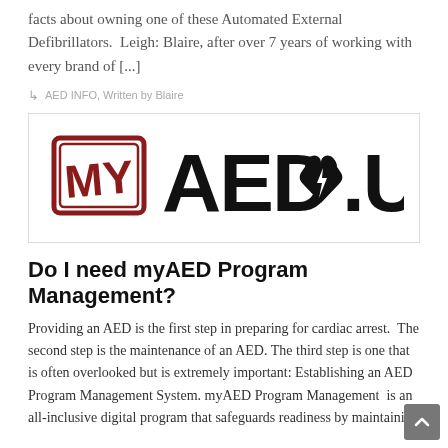facts about owning one of these Automated External Defibrillators.  Leigh: Blaire, after over 7 years of working with every brand of [...]
AED INFO, Written by Blaire
[Figure (logo): myAED.US logo — 'my' in red stamp-style box, 'AED' in large black bold letters, heart with lightning bolt symbol, '.US' in black bold letters]
Do I need myAED Program Management?
Providing an AED is the first step in preparing for cardiac arrest.  The second step is the maintenance of an AED. The third step is one that is often overlooked but is extremely important: Establishing an AED Program Management System. myAED Program Management  is an all-inclusive digital program that safeguards readiness by maintaining